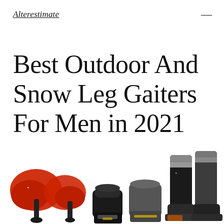Alterestimate
Best Outdoor And Snow Leg Gaiters For Men in 2021
[Figure (photo): Three product images of leg gaiters: red/black compact gaiters on the left, black/grey ankle gaiters in the middle, and tall black/grey leg gaiters with boots on the right.]